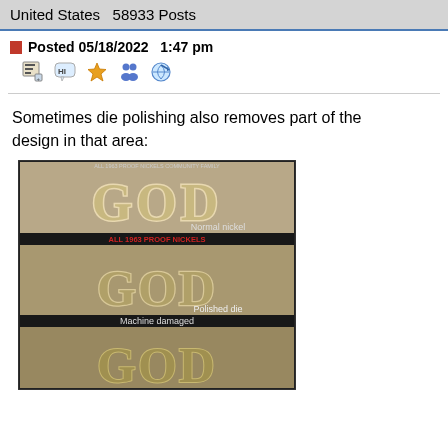United States   58933 Posts
Posted 05/18/2022  1:47 pm
Sometimes die polishing also removes part of the design in that area:
[Figure (photo): Composite image showing three close-up photos of 'GOD' lettering on nickels: top labeled 'Normal nickel', middle labeled 'Polished die' with red text 'ALL 1963 PROOF NICKELS', bottom labeled 'Machine damaged']